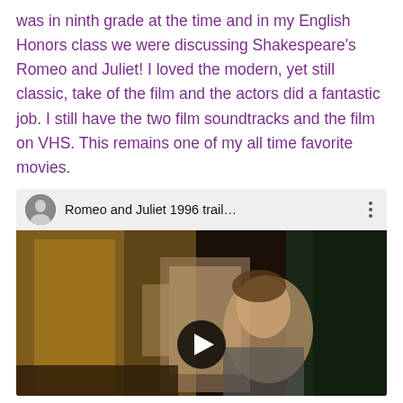was in ninth grade at the time and in my English Honors class we were discussing Shakespeare's Romeo and Juliet! I loved the modern, yet still classic, take of the film and the actors did a fantastic job. I still have the two film soundtracks and the film on VHS. This remains one of my all time favorite movies.
[Figure (screenshot): Embedded YouTube video thumbnail showing Romeo and Juliet 1996 trailer with a young male actor in the foreground at a party scene. The video header shows an avatar, the title 'Romeo and Juliet 1996 trail…', and a three-dot menu. A play button is visible in the center of the thumbnail.]